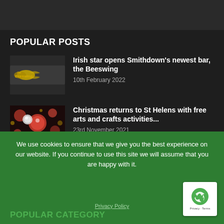POPULAR POSTS
Irish star opens Smithdown's newest bar, the Beeswing
10th February 2022
Christmas returns to St Helens with free arts and crafts activities...
23rd November 2021
Castle Street and Bold Street 'pedestrians only' until September
We use cookies to ensure that we give you the best experience on our website. If you continue to use this site we will assume that you are happy with it.
POPULAR CATEGORY